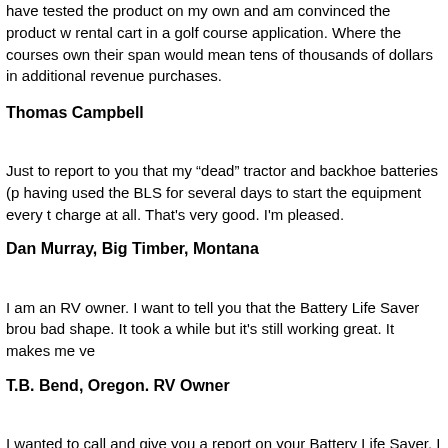have tested the product on my own and am convinced the product will extend the life of a rental cart in a golf course application. Where the courses own their carts, an extended life span would mean tens of thousands of dollars in additional revenue compared to new cart purchases.
Thomas Campbell
Just to report to you that my “dead” tractor and backhoe batteries (p having used the BLS for several days to start the equipment every t charge at all. That’s very good. I’m pleased.
Dan Murray, Big Timber, Montana
I am an RV owner. I want to tell you that the Battery Life Saver brou bad shape. It took a while but it’s still working great. It makes me ve
T.B. Bend, Oregon. RV Owner
I wanted to call and give you a report on your Battery Life Saver. I w from you, knowing that there was a money back guarantee, I decide batteries in my R.V., all with very poor specific gravity readings. Afte the batteries are now reading close to new batteries. I am very hap